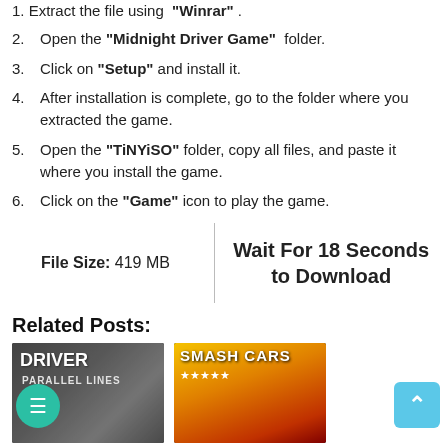1. Extract the file using "Winrar".
2. Open the "Midnight Driver Game" folder.
3. Click on "Setup" and install it.
4. After installation is complete, go to the folder where you extracted the game.
5. Open the "TiNYiSO" folder, copy all files, and paste it where you install the game.
6. Click on the "Game" icon to play the game.
| File Size: 419 MB | Wait For 18 Seconds to Download |
Related Posts:
[Figure (photo): Game cover image for Driver: Parallel Lines]
[Figure (photo): Game cover image for Smash Cars with 5-star rating]